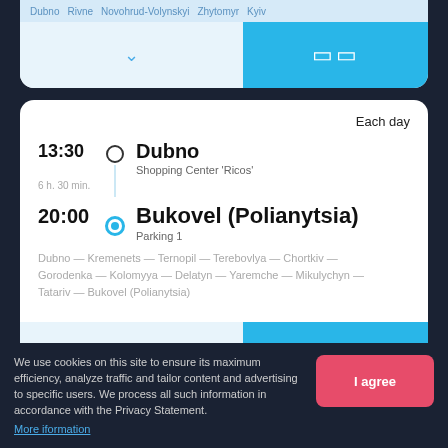[Figure (screenshot): Top partial transport booking card with city tabs (Dubno, Rivne, Novohrud-Volynskyi, Zhytomyr, Kyiv), a chevron expand button, and a blue book button.]
Each day
13:30
Dubno
Shopping Center 'Ricos'
6 h. 30 min.
20:00
Bukovel (Polianytsia)
Parking 1
Dubno — Kremenets — Ternopil — Terebovlya — Chortkiv — Gorodenka — Kolomyya — Delatyn — Yaremche — Mikulychyn — Tatariv — Bukovel (Polianytsia)
We use cookies on this site to ensure its maximum efficiency, analyze traffic and tailor content and advertising to specific users. We process all such information in accordance with the Privacy Statement.
More iformation
I agree